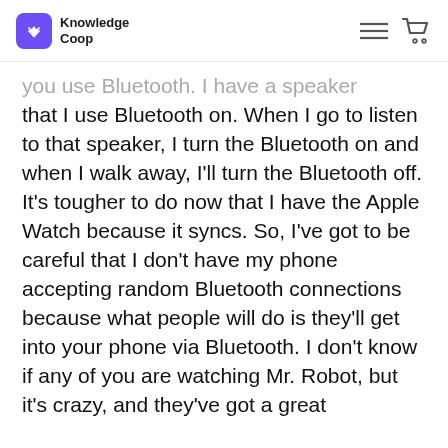Knowledge Coop
you use Bluetooth. I have a speaker that I use Bluetooth on. When I go to listen to that speaker, I turn the Bluetooth on and when I walk away, I'll turn the Bluetooth off. It's tougher to do now that I have the Apple Watch because it syncs. So, I've got to be careful that I don't have my phone accepting random Bluetooth connections because what people will do is they'll get into your phone via Bluetooth. I don't know if any of you are watching Mr. Robot, but it's crazy, and they've got a great